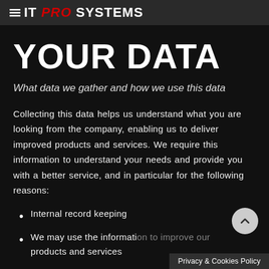IT PRO SYSTEMS
YOUR DATA
What data we gather and how we use this data
Collecting this data helps us understand what you are looking from the company, enabling us to deliver improved products and services. We require this information to understand your needs and provide you with a better service, and in particular for the following reasons:
Internal record keeping
We may use the information to improve our products and services